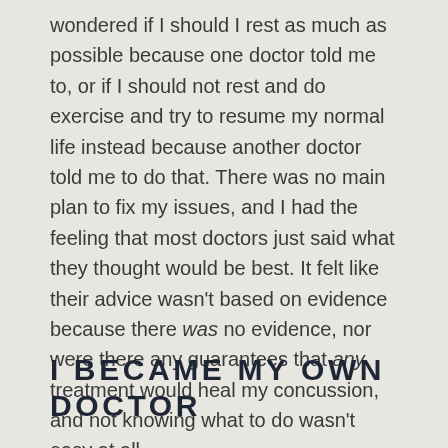wondered if I should I rest as much as possible because one doctor told me to, or if I should not rest and do exercise and try to resume my normal life instead because another doctor told me to do that. There was no main plan to fix my issues, and I had the feeling that most doctors just said what they thought would be best. It felt like their advice wasn't based on evidence because there was no evidence, nor were there any guarantees that any treatment would heal my concussion, and not knowing what to do wasn't easy at all.
I BECAME MY OWN DOCTOR